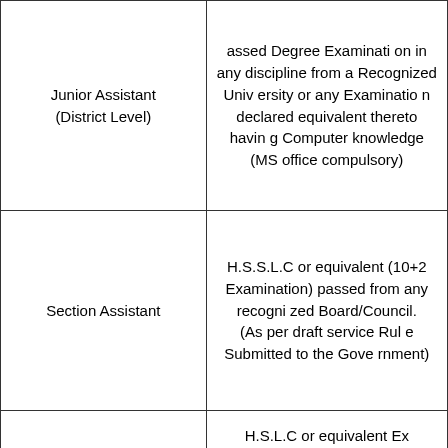| Junior Assistant (District Level) | assed Degree Examination in any discipline from a Recognized University or any Examination declared equivalent thereto having Computer knowledge (MS office compulsory) |
| Section Assistant | H.S.S.L.C or equivalent (10+2 Examination) passed from any recognized Board/Council. (As per draft service Rule Submitted to the Government) |
|  | H.S.L.C or equivalent Examination from any recognized Board/Counc |